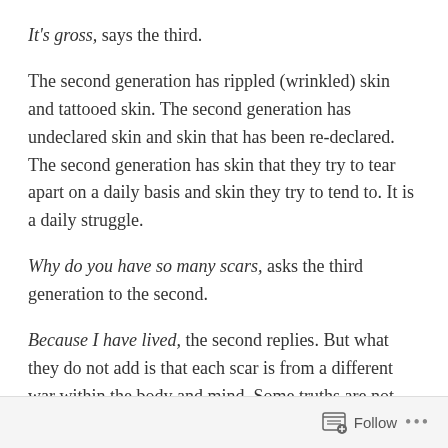It's gross, says the third.
The second generation has rippled (wrinkled) skin and tattooed skin. The second generation has undeclared skin and skin that has been re-declared. The second generation has skin that they try to tear apart on a daily basis and skin they try to tend to. It is a daily struggle.
Why do you have so many scars, asks the third generation to the second.
Because I have lived, the second replies. But what they do not add is that each scar is from a different war within the body and mind. Some truths are not able to be told until. Until. When?
Follow ...